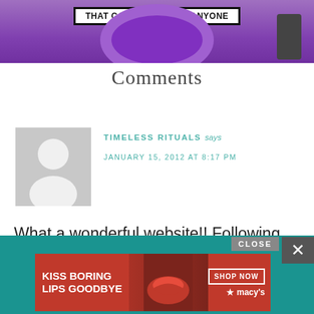[Figure (photo): Top portion of a blog post image showing purple ring/object and text banner reading 'THAT CAN BE USED BY ANYONE']
Comments
[Figure (photo): Default grey avatar/silhouette placeholder image]
TIMELESS RITUALS says
JANUARY 15, 2012 AT 8:17 PM
What a wonderful website!! Following right away!! 🙂
[Figure (other): Advertisement banner: teal background with CLOSE button, X button, and Macy's lip product ad reading KISS BORING LIPS GOODBYE with SHOP NOW button and macy's star logo]